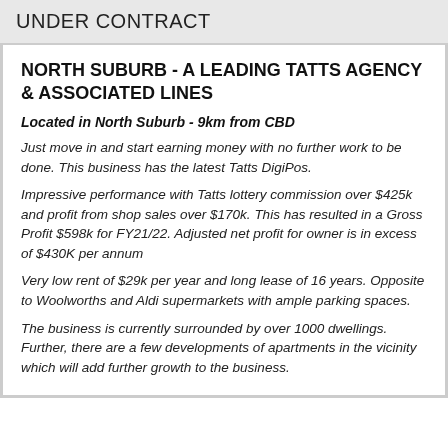UNDER CONTRACT
NORTH SUBURB - A LEADING TATTS AGENCY & ASSOCIATED LINES
Located in North Suburb - 9km from CBD
Just move in and start earning money with no further work to be done. This business has the latest Tatts DigiPos.
Impressive performance with Tatts lottery commission over $425k and profit from shop sales over $170k. This has resulted in a Gross Profit $598k for FY21/22. Adjusted net profit for owner is in excess of $430K per annum
Very low rent of $29k per year and long lease of 16 years. Opposite to Woolworths and Aldi supermarkets with ample parking spaces.
The business is currently surrounded by over 1000 dwellings. Further, there are a few developments of apartments in the vicinity which will add further growth to the business.